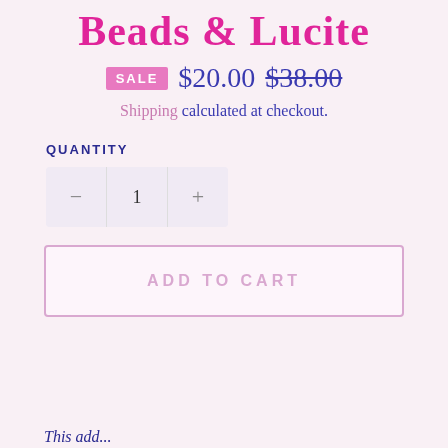Beads & Lucite
SALE  $20.00  $38.00
Shipping calculated at checkout.
QUANTITY
- 1 +
ADD TO CART
This add...